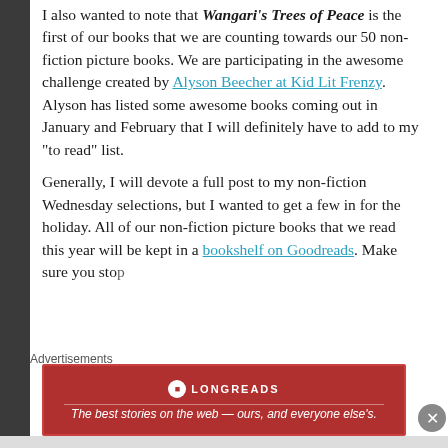I also wanted to note that Wangari's Trees of Peace is the first of our books that we are counting towards our 50 non-fiction picture books. We are participating in the awesome challenge created by Alyson Beecher at Kid Lit Frenzy. Alyson has listed some awesome books coming out in January and February that I will definitely have to add to my “to read” list.
Generally, I will devote a full post to my non-fiction Wednesday selections, but I wanted to get a few in for the holiday. All of our non-fiction picture books that we read this year will be kept in a bookshelf on Goodreads. Make sure you sto...
Advertisements
[Figure (other): Longreads advertisement banner: red background with Longreads logo and tagline 'The best stories on the web — ours, and everyone else's.']